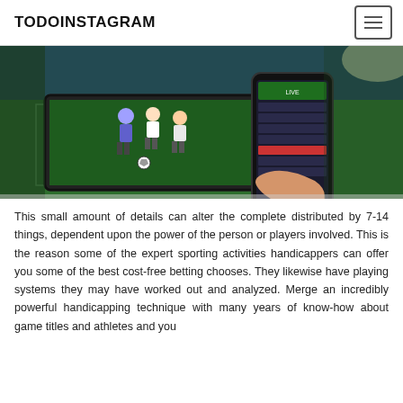TODOINSTAGRAM
[Figure (photo): A composite image showing a soccer/football match on a tablet screen with players in action, overlaid with a hand holding a smartphone displaying a sports betting app interface. Green grass field background.]
This small amount of details can alter the complete distributed by 7-14 things, dependent upon the power of the person or players involved. This is the reason some of the expert sporting activities handicappers can offer you some of the best cost-free betting chooses. They likewise have playing systems they may have worked out and analyzed. Merge an incredibly powerful handicapping technique with many years of know-how about game titles and athletes and you